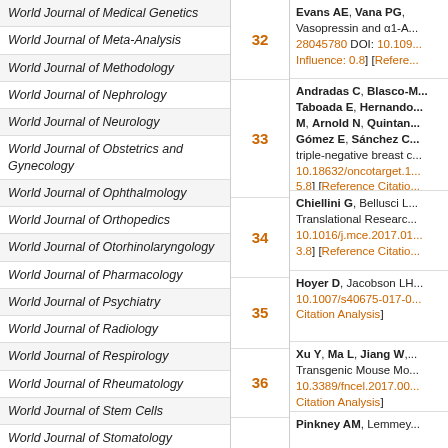World Journal of Medical Genetics
World Journal of Meta-Analysis
World Journal of Methodology
World Journal of Nephrology
World Journal of Neurology
World Journal of Obstetrics and Gynecology
World Journal of Ophthalmology
World Journal of Orthopedics
World Journal of Otorhinolaryngology
World Journal of Pharmacology
World Journal of Psychiatry
World Journal of Radiology
World Journal of Respirology
World Journal of Rheumatology
World Journal of Stem Cells
World Journal of Stomatology
World Journal of Surgical Procedures
World Journal of Translational Medicine
World Journal of Transplantation
| # | Reference |
| --- | --- |
| 32 | Evans AE, Vana PG, ... Vasopressin and α1-A... 28045780 DOI: 10.109... Influence: 0.8] [Refere... |
| 33 | Andradas C, Blasco-... Taboada E, Hernando... M, Arnold N, Quintan... Gómez E, Sánchez C... triple-negative breast c... 10.18632/oncotarget.1... 5.8] [Reference Citatio... |
| 34 | Chiellini G, Bellusci L... Translational Researc... 10.1016/j.mce.2017.01... 3.8] [Reference Citatio... |
| 35 | Hoyer D, Jacobson LH... 10.1007/s40675-017-0... Citation Analysis] |
| 36 | Xu Y, Ma L, Jiang W,... Transgenic Mouse Mo... 10.3389/fncel.2017.00... Citation Analysis] |
| 37 | Pinkney AM, Lemmey... |